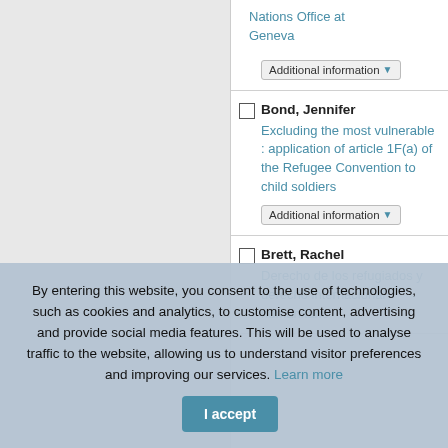Nations Office at Geneva
Additional information
Bond, Jennifer
Excluding the most vulnerable : application of article 1F(a) of the Refugee Convention to child soldiers
Additional information
Brett, Rachel
Derecho de los refugiados y derecho internacional humanitario
By entering this website, you consent to the use of technologies, such as cookies and analytics, to customise content, advertising and provide social media features. This will be used to analyse traffic to the website, allowing us to understand visitor preferences and improving our services. Learn more
I accept